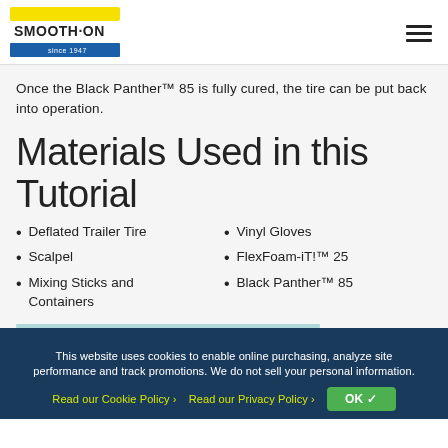Smooth-On logo and navigation menu
Once the Black Panther™ 85 is fully cured, the tire can be put back into operation.
Materials Used in this Tutorial
Deflated Trailer Tire
Scalpel
Mixing Sticks and Containers
Vinyl Gloves
FlexFoam-iT!™ 25
Black Panther™ 85
This website uses cookies to enable online purchasing, analyze site performance and track promotions. We do not sell your personal information. Read our Cookie Policy › Read our Privacy Policy › OK ✓